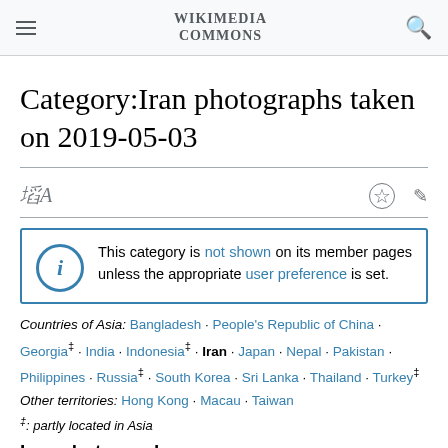Wikimedia Commons
Category:Iran photographs taken on 2019-05-03
This category is not shown on its member pages unless the appropriate user preference is set.
Countries of Asia: Bangladesh · People's Republic of China · Georgia‡ · India · Indonesia‡ · Iran · Japan · Nepal · Pakistan · Philippines · Russia‡ · South Korea · Sri Lanka · Thailand · Turkey‡
Other territories: Hong Kong · Macau · Taiwan
‡: partly located in Asia
Iran photographs
previous week • 3 May next day •